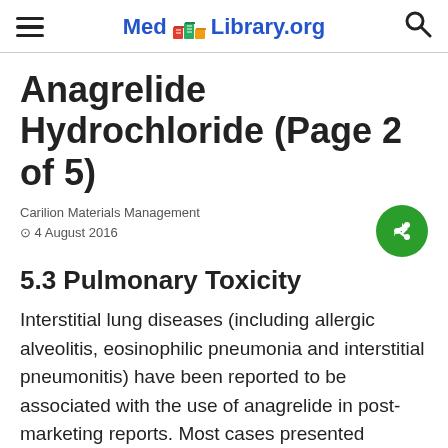MedLibrary.org
Anagrelide Hydrochloride (Page 2 of 5)
Carilion Materials Management
⊙ 4 August 2016
5.3 Pulmonary Toxicity
Interstitial lung diseases (including allergic alveolitis, eosinophilic pneumonia and interstitial pneumonitis) have been reported to be associated with the use of anagrelide in post-marketing reports. Most cases presented